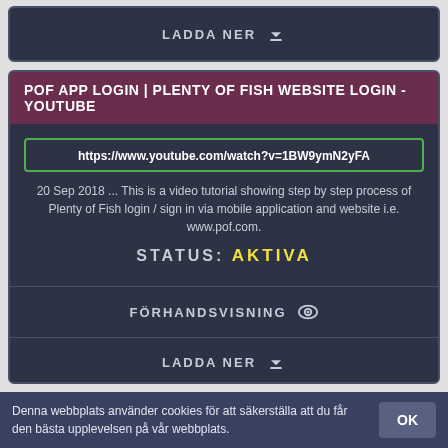LADDA NER ⬇
POF APP LOGIN | PLENTY OF FISH WEBSITE LOGIN - YOUTUBE
https://www.youtube.com/watch?v=1BW9ymN2yFA
20 Sep 2018 ... This is a video tutorial showing step by step process of Plenty of Fish login / sign in via mobile application and website i.e. www.pof.com.
STATUS: AKTIVA
FÖRHANDSVISNING 👁
LADDA NER ⬇
LOGIN ERROR: CANNOT REACH THE NEXUS LOGIN SERVER - PAGE 2 - OPEN
Denna webbplats använder cookies för att säkerställa att du får den bästa upplevelsen på vår webbplats.